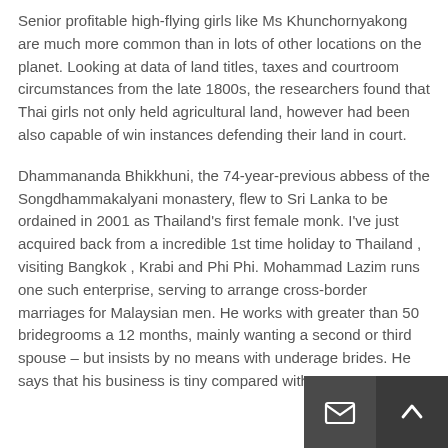Senior profitable high-flying girls like Ms Khunchornyakong are much more common than in lots of other locations on the planet. Looking at data of land titles, taxes and courtroom circumstances from the late 1800s, the researchers found that Thai girls not only held agricultural land, however had been also capable of win instances defending their land in court.
Dhammananda Bhikkhuni, the 74-year-previous abbess of the Songdhammakalyani monastery, flew to Sri Lanka to be ordained in 2001 as Thailand's first female monk. I've just acquired back from a incredible 1st time holiday to Thailand , visiting Bangkok , Krabi and Phi Phi. Mohammad Lazim runs one such enterprise, serving to arrange cross-border marriages for Malaysian men. He works with greater than 50 bridegrooms a 12 months, mainly wanting a second or third spouse – but insists by no means with underage brides. He says that his business is tiny compared with some.